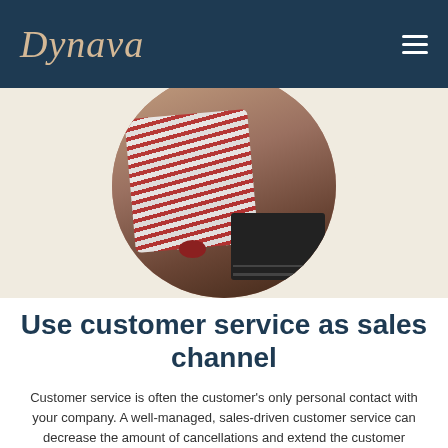Dynava
[Figure (photo): Circular cropped photo of a person wearing a red and white striped garment, sitting at a table with a laptop, on a cream/beige background.]
Use customer service as sales channel
Customer service is often the customer’s only personal contact with your company. A well-managed, sales-driven customer service can decrease the amount of cancellations and extend the customer relation. Added sales of new services and upgrades in service levels are tried and tested methods to increase total sales in a customer-oriented way.